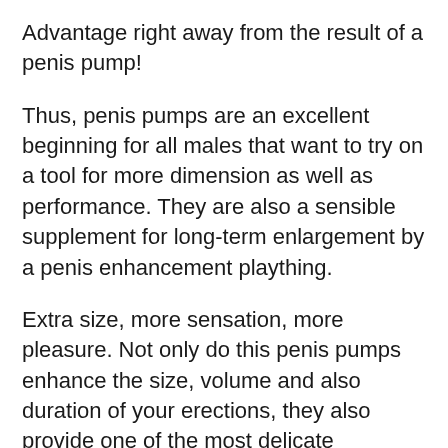Advantage right away from the result of a penis pump!
Thus, penis pumps are an excellent beginning for all males that want to try on a tool for more dimension as well as performance. They are also a sensible supplement for long-term enlargement by a penis enhancement plaything.
Extra size, more sensation, more pleasure. Not only do this penis pumps enhance the size, volume and also duration of your erections, they also provide one of the most delicate locations of your penis with even more blood, making them a lot more receptive to the extreme excitement of solo masturbation or lovemaking. With a penis